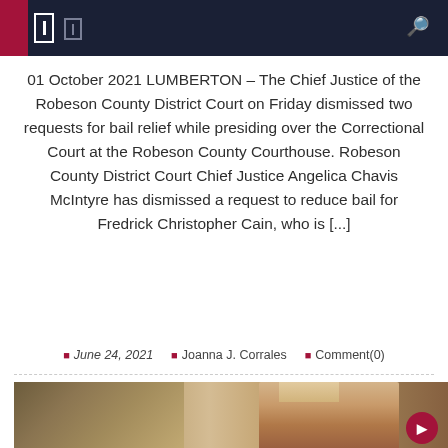01 October 2021 LUMBERTON – The Chief Justice of the Robeson County District Court on Friday dismissed two requests for bail relief while presiding over the Correctional Court at the Robeson County Courthouse. Robeson County District Court Chief Justice Angelica Chavis McIntyre has dismissed a request to reduce bail for Fredrick Christopher Cain, who is [...]
June 24, 2021   Joanna J. Corrales   Comment(0)
[Figure (photo): A woman with her hair pulled back, photographed outdoors near a building with posters or notices in the window behind her.]